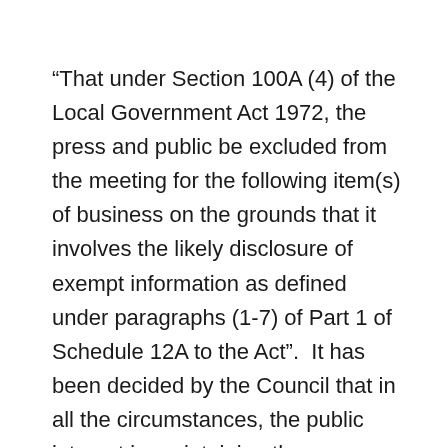“That under Section 100A (4) of the Local Government Act 1972, the press and public be excluded from the meeting for the following item(s) of business on the grounds that it involves the likely disclosure of exempt information as defined under paragraphs (1-7) of Part 1 of Schedule 12A to the Act”.  It has been decided by the Council that in all the circumstances, the public interest in maintaining the exemption outweighs the public interest in disclosing the information.